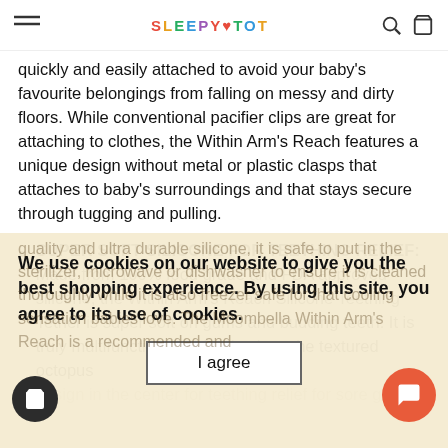SLEEPYTOT (logo) — hamburger menu, search, cart icons
quickly and easily attached to avoid your baby's favourite belongings from falling on messy and dirty floors. While conventional pacifier clips are great for attaching to clothes, the Within Arm's Reach features a unique design without metal or plastic clasps that attaches to baby's surroundings and that stays secure through tugging and pulling.
SUPER SOFT SILICONE FOR TEETHING RELIEF: Made from 100% food grade and FDA approved silicone, the Within Arm's Reach Silicone Teething Tether is super soft on gums and budding teeth. It is truly multifunctional as babies love the textured octopus design in the center for teething relief for sore gums. [faded] ... made from high quality and ultra durable silicone, it is safe to put in the sterilizer, microwave or dishwasher to ensure it is cleaned thoroughly ... while it is also freezer safe for that cooling sensation babies love. The Moombella Within Arm's Reach is...
We use cookies on our website to give you the best shopping experience. By using this site, you agree to its use of cookies.